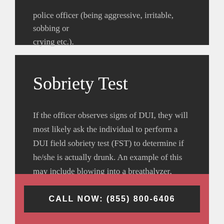police officer (being aggressive, irritable, sobbing or crying etc.).
Sobriety Test
If the officer observes signs of DUI, they will most likely ask the individual to perform a DUI field sobriety test (FST) to determine if he/she is actually drunk. An example of this may include blowing into a breathalyzer, reciting the alphabet backwards, walking in a straight line or tracking the officer's fingers with your eyes. These procedures are voluntary and the individual is welcome to decline if they wish.
CALL NOW: (855) 800-6406